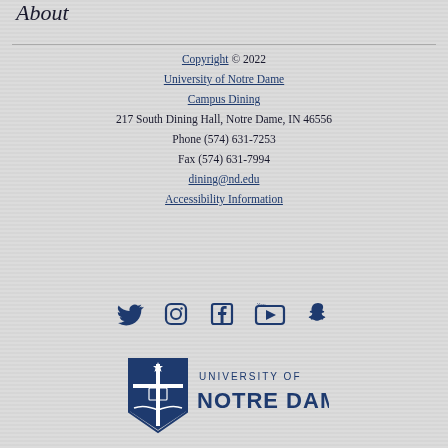About
Copyright © 2022
University of Notre Dame
Campus Dining
217 South Dining Hall, Notre Dame, IN 46556
Phone (574) 631-7253
Fax (574) 631-7994
dining@nd.edu
Accessibility Information
[Figure (logo): Social media icons: Twitter, Instagram, Facebook, YouTube, Snapchat]
[Figure (logo): University of Notre Dame shield logo with text UNIVERSITY OF NOTRE DAME]